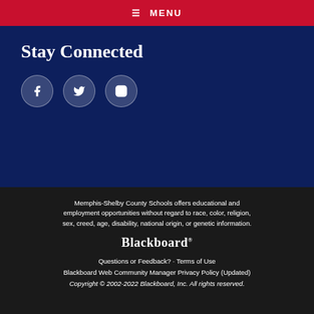☰ MENU
Stay Connected
[Figure (infographic): Three social media icon circles: Facebook (f), Twitter (bird), Instagram (camera outline)]
Memphis-Shelby County Schools offers educational and employment opportunities without regard to race, color, religion, sex, creed, age, disability, national origin, or genetic information.
[Figure (logo): Blackboard logo with trademark symbol]
Questions or Feedback? · Terms of Use
Blackboard Web Community Manager Privacy Policy (Updated)
Copyright © 2002-2022 Blackboard, Inc. All rights reserved.